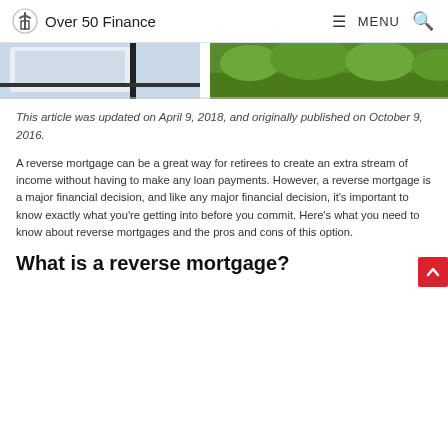Over 50 Finance  MENU
[Figure (photo): Partial hero image strip showing a house sign and green grass/shrubs, cropped at the top of the page]
This article was updated on April 9, 2018, and originally published on October 9, 2016.
A reverse mortgage can be a great way for retirees to create an extra stream of income without having to make any loan payments. However, a reverse mortgage is a major financial decision, and like any major financial decision, it's important to know exactly what you're getting into before you commit. Here's what you need to know about reverse mortgages and the pros and cons of this option.
What is a reverse mortgage?